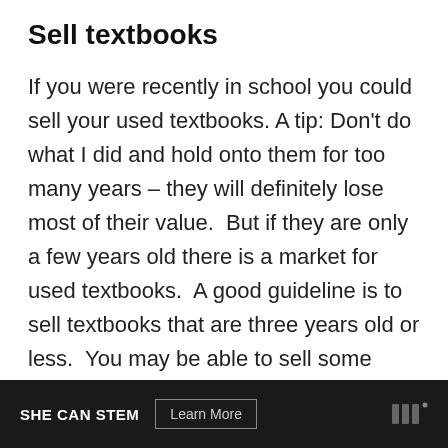Sell textbooks
If you were recently in school you could sell your used textbooks. A tip: Don't do what I did and hold onto them for too many years – they will definitely lose most of their value.  But if they are only a few years old there is a market for used textbooks.  A good guideline is to sell textbooks that are three years old or less.  You may be able to sell some older textbooks depending on the demand/rarity of the book, so look it up.
SHE CAN STEM  Learn More